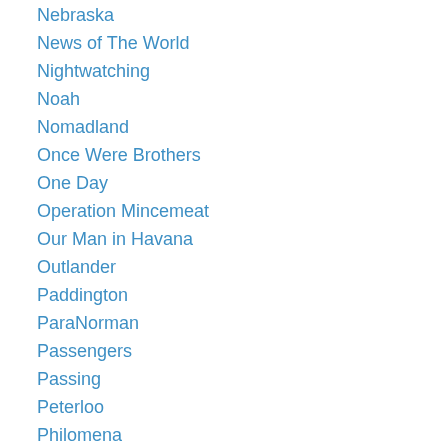Nebraska
News of The World
Nightwatching
Noah
Nomadland
Once Were Brothers
One Day
Operation Mincemeat
Our Man in Havana
Outlander
Paddington
ParaNorman
Passengers
Passing
Peterloo
Philomena
Puss in Boots
Rebecca
Reds 2
Respect